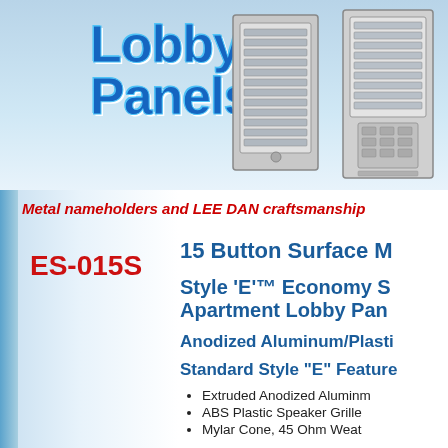[Figure (illustration): Lobby Panels product header banner with blue gradient background, 'Lobby Panels' text in large blue bold font, and images of two lobby panel units on the right side]
Metal nameholders and LEE DAN craftsmanship
ES-015S
15 Button Surface M
Style 'E'™ Economy S Apartment Lobby Pan
Anodized Aluminum/Plasti
Standard Style "E" Feature
Extruded Anodized Aluminm
ABS Plastic Speaker Grille
Mylar Cone, 45 Ohm Weat